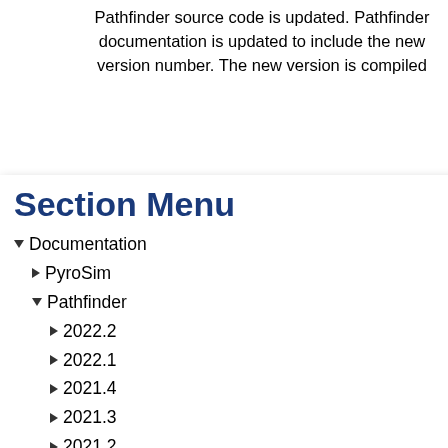Pathfinder source code is updated. Pathfinder documentation is updated to include the new version number. The new version is compiled
ages are uploaded d page. Prior deprecated.
Risk t
nent tool for released by v process for other products of ove. Official to release of the ditional processes fied below.
Section Menu
▼ Documentation
► PyroSim
▼ Pathfinder
► 2022.2
► 2022.1
► 2021.4
► 2021.3
► 2021.2
▼ 2021.1
User Manual
Results User Manual
Technical Manual